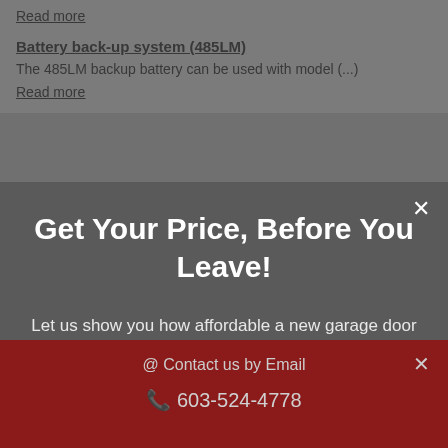Read more
Battery back-up system (485LM)
The 485LM backup battery can be used with model (...)
Read more
Get Your Price, Before You Leave!
Let us show you how affordable a new garage door is!
Get a Price!
@ Contact us by Email
603-524-4778